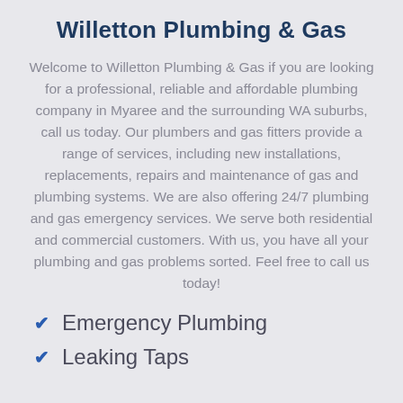Willetton Plumbing & Gas
Welcome to Willetton Plumbing & Gas if you are looking for a professional, reliable and affordable plumbing company in Myaree and the surrounding WA suburbs, call us today. Our plumbers and gas fitters provide a range of services, including new installations, replacements, repairs and maintenance of gas and plumbing systems. We are also offering 24/7 plumbing and gas emergency services. We serve both residential and commercial customers. With us, you have all your plumbing and gas problems sorted. Feel free to call us today!
Emergency Plumbing
Leaking Taps